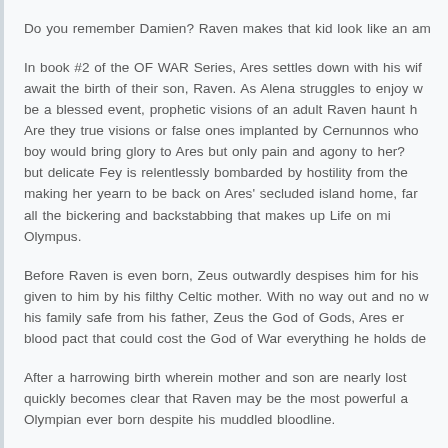Do you remember Damien? Raven makes that kid look like an a...
In book #2 of the OF WAR Series, Ares settles down with his wif... await the birth of their son, Raven. As Alena struggles to enjoy w... be a blessed event, prophetic visions of an adult Raven haunt h... Are they true visions or false ones implanted by Cernunnos who ... boy would bring glory to Ares but only pain and agony to her? ... but delicate Fey is relentlessly bombarded by hostility from the ... making her yearn to be back on Ares' secluded island home, far... all the bickering and backstabbing that makes up Life on mi... Olympus.
Before Raven is even born, Zeus outwardly despises him for his... given to him by his filthy Celtic mother. With no way out and no w... his family safe from his father, Zeus the God of Gods, Ares e... blood pact that could cost the God of War everything he holds de...
After a harrowing birth wherein mother and son are nearly los... quickly becomes clear that Raven may be the most powerful a... Olympian ever born despite his muddled bloodline.